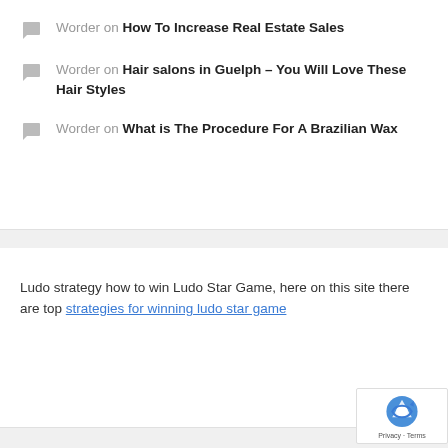Worder on How To Increase Real Estate Sales
Worder on Hair salons in Guelph – You Will Love These Hair Styles
Worder on What is The Procedure For A Brazilian Wax
Ludo strategy how to win Ludo Star Game, here on this site there are top strategies for winning ludo star game